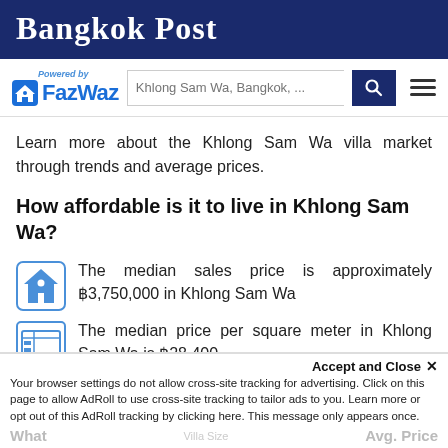Bangkok Post
[Figure (logo): FazWaz logo with house icon, Powered by label, and search bar with Khlong Sam Wa, Bangkok placeholder and hamburger menu]
Learn more about the Khlong Sam Wa villa market through trends and average prices.
How affordable is it to live in Khlong Sam Wa?
The median sales price is approximately ฿3,750,000 in Khlong Sam Wa
The median price per square meter in Khlong Sam Wa is ฿28,400
The Khlong Sam Wa area currently has 6 properties for sale
Accept and Close ✕ Your browser settings do not allow cross-site tracking for advertising. Click on this page to allow AdRoll to use cross-site tracking to tailor ads to you. Learn more or opt out of this AdRoll tracking by clicking here. This message only appears once.